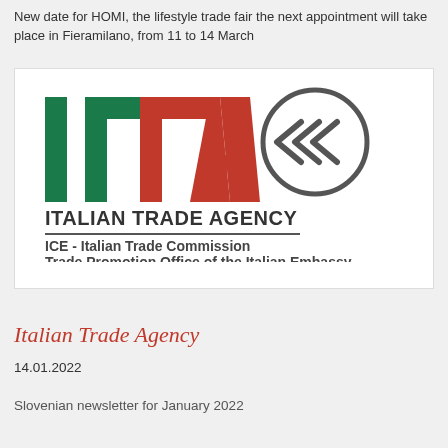New date for HOMI, the lifestyle trade fair the next appointment will take place in Fieramilano, from 11 to 14 March
[Figure (logo): ITA - Italian Trade Agency logo with green and red letters and circular arrow emblem, with text ITALIAN TRADE AGENCY and ICE - Italian Trade Commission Trade Promotion Office of the Italian Embassy]
Italian Trade Agency
14.01.2022
Slovenian newsletter for January 2022